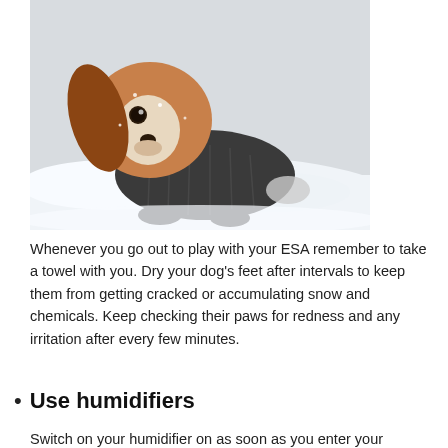[Figure (photo): A Cavalier King Charles Spaniel dog wearing a dark knit sweater, lying in the snow. The dog has brown and white fur with long floppy ears. Snow is visible around and on the dog.]
Whenever you go out to play with your ESA remember to take a towel with you. Dry your dog’s feet after intervals to keep them from getting cracked or accumulating snow and chemicals. Keep checking their paws for redness and any irritation after every few minutes.
Use humidifiers
Switch on your humidifier on as soon as you enter your